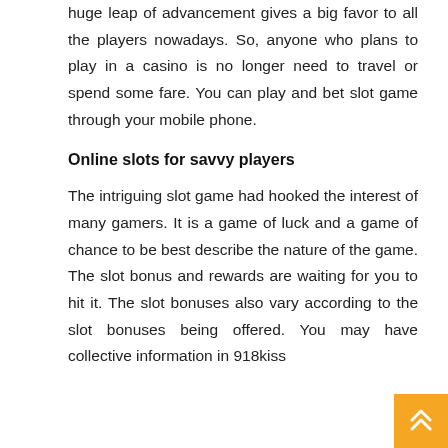huge leap of advancement gives a big favor to all the players nowadays. So, anyone who plans to play in a casino is no longer need to travel or spend some fare. You can play and bet slot game through your mobile phone.
Online slots for savvy players
The intriguing slot game had hooked the interest of many gamers. It is a game of luck and a game of chance to be best describe the nature of the game. The slot bonus and rewards are waiting for you to hit it. The slot bonuses also vary according to the slot bonuses being offered. You may have collective information in 918kiss